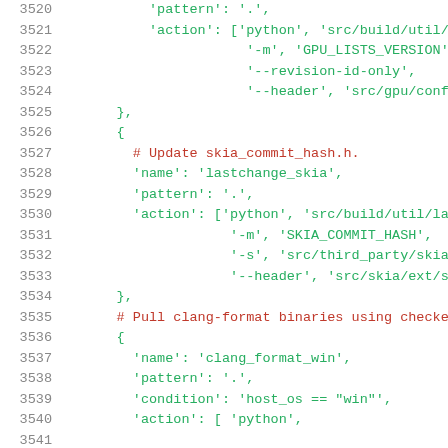Code listing lines 3520–3541, Python/config source file showing hook definitions for GPU lists version and skia commit hash updates, and clang-format binary pull.